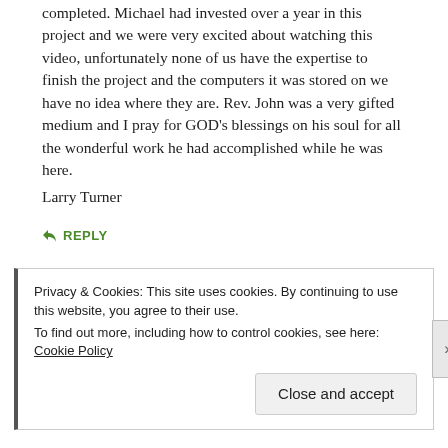completed. Michael had invested over a year in this project and we were very excited about watching this video, unfortunately none of us have the expertise to finish the project and the computers it was stored on we have no idea where they are. Rev. John was a very gifted medium and I pray for GOD's blessings on his soul for all the wonderful work he had accomplished while he was here.
Larry Turner
↳ REPLY
Privacy & Cookies: This site uses cookies. By continuing to use this website, you agree to their use.
To find out more, including how to control cookies, see here: Cookie Policy
Close and accept